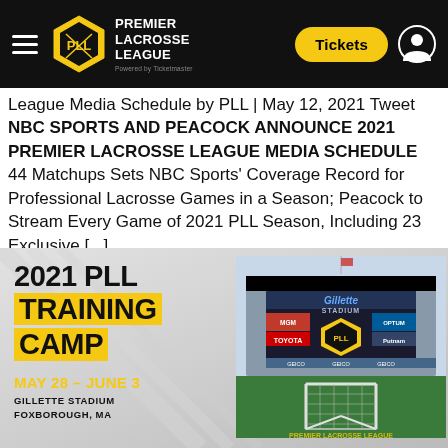Premier Lacrosse League — Navigation header with logo, Tickets button
League Media Schedule by PLL | May 12, 2021 Tweet NBC SPORTS AND PEACOCK ANNOUNCE 2021 PREMIER LACROSSE LEAGUE MEDIA SCHEDULE 44 Matchups Sets NBC Sports' Coverage Record for Professional Lacrosse Games in a Season; Peacock to Stream Every Game of 2021 PLL Season, Including 23 Exclusive [...]
[Figure (photo): 2021 PLL Training Camp promotional image showing Gillette Stadium with lacrosse goal on field. Text overlay reads '2021 PLL TRAINING CAMP MAY 28 – JUNE 3 GILLETTE STADIUM FOXBOROUGH, MA']